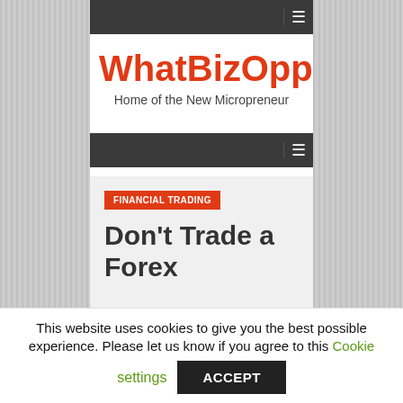WhatBizOpp — Home of the New Micropreneur
WhatBizOpp
Home of the New Micropreneur
FINANCIAL TRADING
Don't Trade a Forex
This website uses cookies to give you the best possible experience. Please let us know if you agree to this Cookie settings ACCEPT